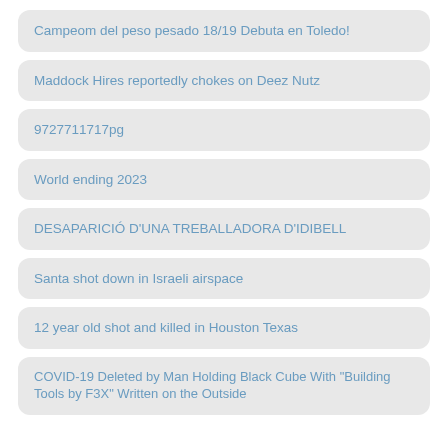Campeom del peso pesado 18/19 Debuta en Toledo!
Maddock Hires reportedly chokes on Deez Nutz
9727711717pg
World ending 2023
DESAPARICIÓ D'UNA TREBALLADORA D'IDIBELL
Santa shot down in Israeli airspace
12 year old shot and killed in Houston Texas
COVID-19 Deleted by Man Holding Black Cube With "Building Tools by F3X" Written on the Outside